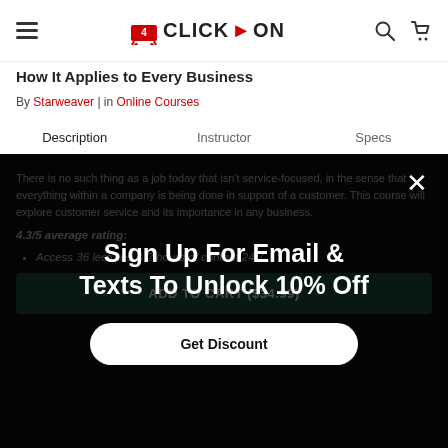4 CLICK ON - navigation header with hamburger menu, logo, search and cart icons
How It Applies to Every Business
By Starweaver | in Online Courses
Description | Instructor | Specs
There is no such thing as a job today that isn't service-focused, in the sense that everything within a company is being done in support of a customer. This course will explore customer service and its importance in any business.
4.3/5 average rating:
Access 36 lectures & 2 hours of content 24/7
ADD TO CART ($34.99)
Sign Up For Email & Texts To Unlock 10% Off
Get Discount